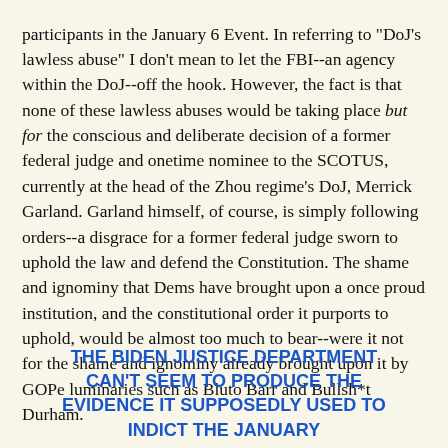participants in the January 6 Event. In referring to "DoJ's lawless abuse" I don't mean to let the FBI--an agency within the DoJ--off the hook. However, the fact is that none of these lawless abuses would be taking place but for the conscious and deliberate decision of a former federal judge and onetime nominee to the SCOTUS, currently at the head of the Zhou regime's DoJ, Merrick Garland. Garland himself, of course, is simply following orders--a disgrace for a former federal judge sworn to uphold the law and defend the Constitution. The shame and ignominy that Dems have brought upon a once proud institution, and the constitutional order it purports to uphold, would be almost too much to bear--were it not for the shame and ignominy already brought upon it by GOPe luminaries such as Bluto Barr and Bullsh*t Durham.
Commenter PDQuig has brought to our attention a fine article on the current status of the persecution by a former long time federal prosecutor, Shipwreckedcrew:
THE BIDEN JUSTICE DEPARTMENT CAN'T SEEM TO PRODUCE THE EVIDENCE IT SUPPOSEDLY USED TO INDICT THE JANUARY